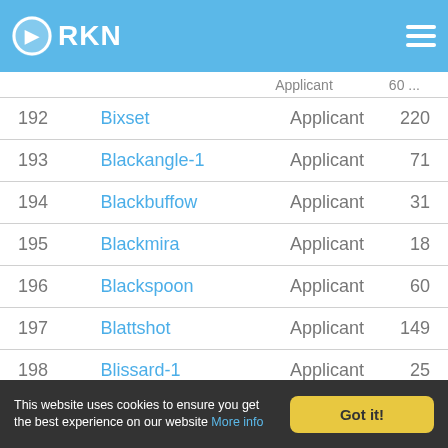RKN
| # | Name | Type | Value |
| --- | --- | --- | --- |
| 192 | Bixset | Applicant | 220 |
| 193 | Blackangle-1 | Applicant | 71 |
| 194 | Blackbuffow | Applicant | 31 |
| 195 | Blackmira | Applicant | 18 |
| 196 | Blackspoon | Applicant | 60 |
| 197 | Blattshot | Applicant | 149 |
| 198 | Blissard-1 | Applicant | 25 |
| 199 | Blissful | Applicant | 150 |
| 200 | Bloodhawk | Applicant | 150 |
This website uses cookies to ensure you get the best experience on our website More info  Got it!